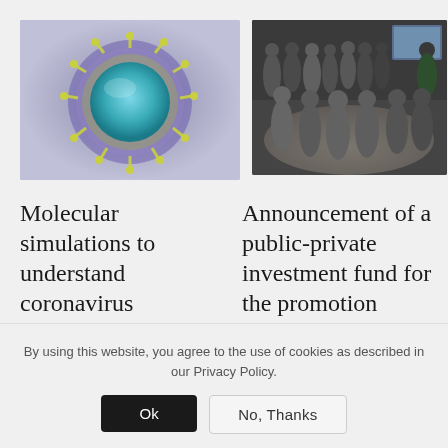[Figure (photo): Microscopic image of a coronavirus particle — teal/blue spherical structure with yellow spike proteins on a purple/grey background]
[Figure (photo): Group of approximately 15 people in formal attire viewed from above, standing in a lobby or meeting space, most wearing face masks]
Molecular simulations to understand coronavirus
Announcement of a public-private investment fund for the promotion
By using this website, you agree to the use of cookies as described in our Privacy Policy.
Ok
No, Thanks